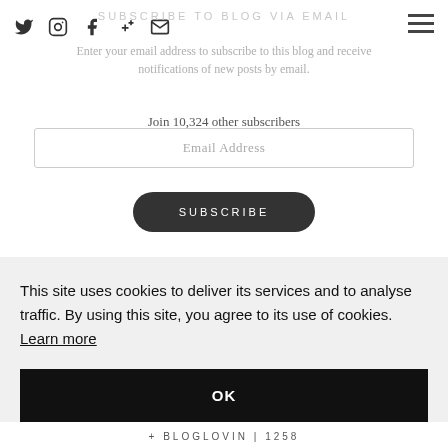SUBSCRIBE TO BLOG VIA EMAIL
[Figure (other): Social media icons: Twitter, Instagram, Facebook, Google Plus, Email, and hamburger menu icon]
Enter your email address to subscribe to this blog and receive notifications of new posts by email.
Join 10,324 other subscribers
Email Address
SUBSCRIBE
This site uses cookies to deliver its services and to analyse traffic. By using this site, you agree to its use of cookies. Learn more
OK
+ BLOGLOVIN | 1258